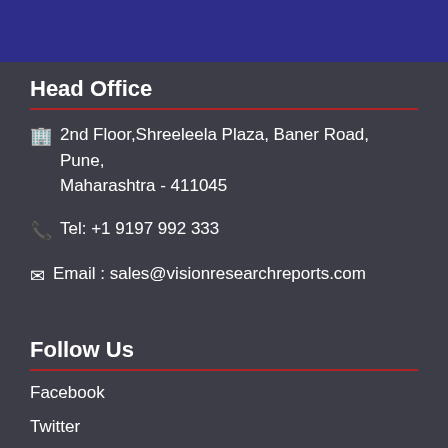Head Office
2nd Floor,Shreeleela Plaza, Baner Road, Pune, Maharashtra - 411045
Tel: +1 9197 992 333
Email : sales@visionresearchreports.com
Follow Us
Facebook
Twitter
Linkedin